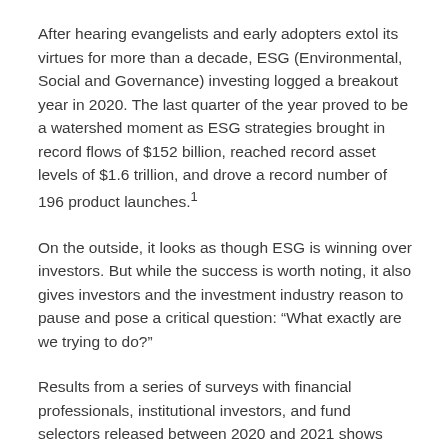After hearing evangelists and early adopters extol its virtues for more than a decade, ESG (Environmental, Social and Governance) investing logged a breakout year in 2020. The last quarter of the year proved to be a watershed moment as ESG strategies brought in record flows of $152 billion, reached record asset levels of $1.6 trillion, and drove a record number of 196 product launches.¹
On the outside, it looks as though ESG is winning over investors. But while the success is worth noting, it also gives investors and the investment industry reason to pause and pose a critical question: “What exactly are we trying to do?”
Results from a series of surveys with financial professionals, institutional investors, and fund selectors released between 2020 and 2021 shows that answer isn’t always clear. The motives are many,